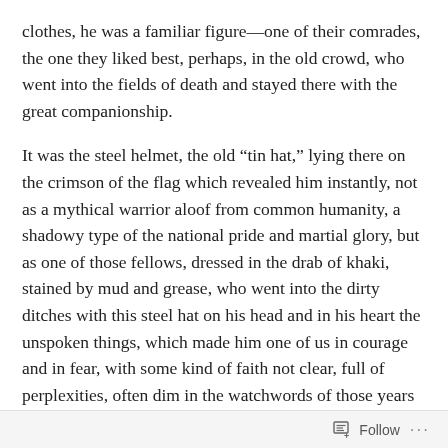clothes, he was a familiar figure—one of their comrades, the one they liked best, perhaps, in the old crowd, who went into the fields of death and stayed there with the great companionship.
It was the steel helmet, the old “tin hat,” lying there on the crimson of the flag which revealed him instantly, not as a mythical warrior aloof from common humanity, a shadowy type of the national pride and martial glory, but as one of those fellows, dressed in the drab of khaki, stained by mud and grease, who went into the dirty ditches with this steel hat on his head and in his heart the unspoken things, which made him one of us in courage and in fear, with some kind of faith not clear, full of perplexities, often dim in the watchwords of those years of war.
Follow